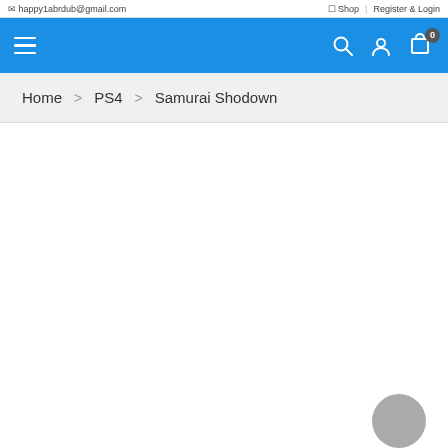happy1abrdub@gmail.com  Shop  |  Register & Login
[Figure (screenshot): Blue navigation bar with hamburger menu icon on the left, and search, user account, and shopping cart icons (with 0 badge) on the right]
Home  PS4  Samurai Shodown